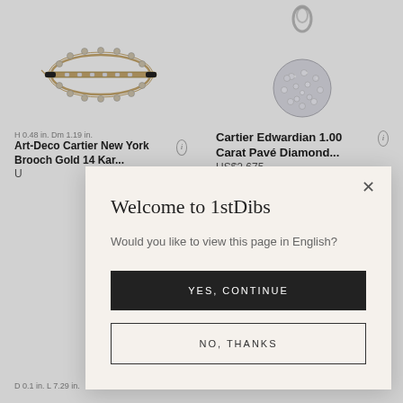[Figure (photo): Art-Deco Cartier brooch, oval shape with pearls and diamonds, gold bar through center, on white background]
[Figure (photo): Cartier Edwardian diamond pavé pendant charm, round sphere covered in diamonds with ring bail at top, on white background]
H 0.48 in. Dm 1.19 in.
Art-Deco Cartier New York Brooch Gold 14 Kar...
U
Cartier Edwardian 1.00 Carat Pavé Diamond...
US$2,675
Welcome to 1stDibs
Would you like to view this page in English?
YES, CONTINUE
NO, THANKS
D 0.1 in. L 7.29 in.
Cartier, France 45 Round